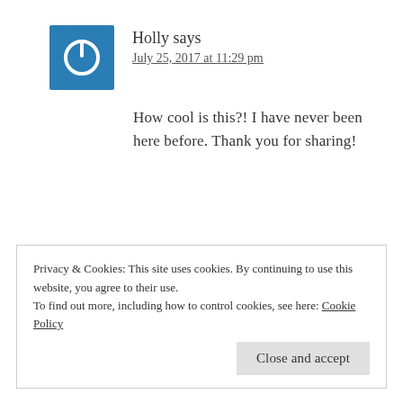[Figure (illustration): Blue square avatar icon with a white power button symbol]
Holly says
July 25, 2017 at 11:29 pm
How cool is this?! I have never been here before. Thank you for sharing!
Privacy & Cookies: This site uses cookies. By continuing to use this website, you agree to their use.
To find out more, including how to control cookies, see here: Cookie Policy
Close and accept